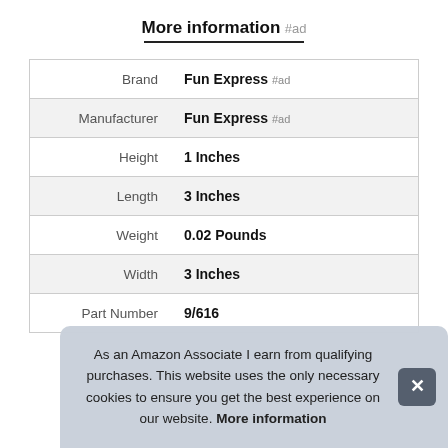More information #ad
|  |  |
| --- | --- |
| Brand | Fun Express #ad |
| Manufacturer | Fun Express #ad |
| Height | 1 Inches |
| Length | 3 Inches |
| Weight | 0.02 Pounds |
| Width | 3 Inches |
| Part Number | 9/616 |
As an Amazon Associate I earn from qualifying purchases. This website uses the only necessary cookies to ensure you get the best experience on our website. More information